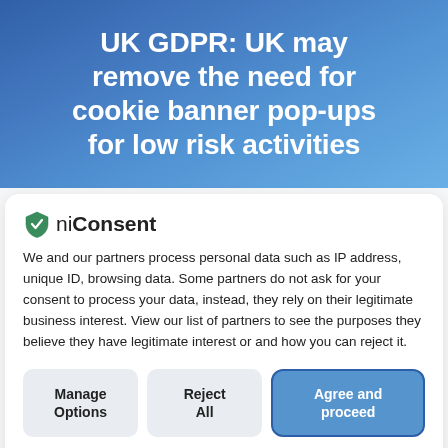UK GDPR: UK may remove the need for cookie banner pop-ups for low risk activities
[Figure (logo): niConsent logo with green shield checkmark icon]
We and our partners process personal data such as IP address, unique ID, browsing data. Some partners do not ask for your consent to process your data, instead, they rely on their legitimate business interest. View our list of partners to see the purposes they believe they have legitimate interest or and how you can reject it.
Manage Options
Reject All
Agree and proceed
Powered by niConsent